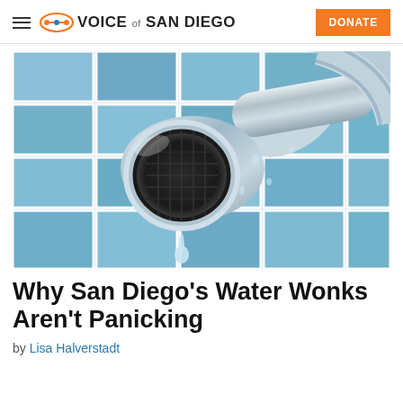Voice of San Diego — DONATE
[Figure (photo): Close-up photograph of a chrome water faucet with a single water droplet falling from the aerator, with blue tile background]
Why San Diego's Water Wonks Aren't Panicking
by Lisa Halverstadt